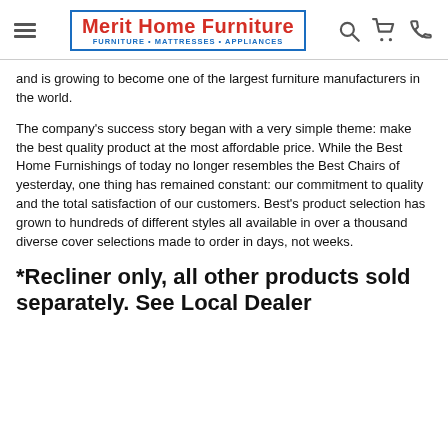[Figure (logo): Merit Home Furniture logo with red text and blue border, subtitle: FURNITURE • MATTRESSES • APPLIANCES]
and is growing to become one of the largest furniture manufacturers in the world.
The company's success story began with a very simple theme: make the best quality product at the most affordable price. While the Best Home Furnishings of today no longer resembles the Best Chairs of yesterday, one thing has remained constant: our commitment to quality and the total satisfaction of our customers. Best's product selection has grown to hundreds of different styles all available in over a thousand diverse cover selections made to order in days, not weeks.
*Recliner only, all other products sold separately. See Local Dealer